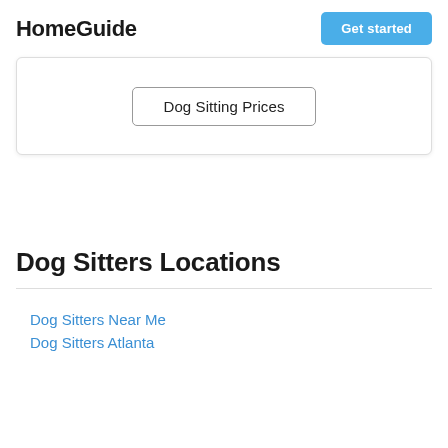HomeGuide   Get started
[Figure (other): Card panel containing a button labeled 'Dog Sitting Prices']
Dog Sitters Locations
Dog Sitters Near Me
Dog Sitters Atlanta